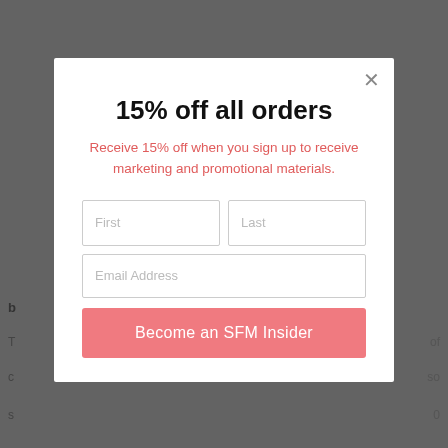15% off all orders
Receive 15% off when you sign up to receive marketing and promotional materials.
First
Last
Email Address
Become an SFM Insider